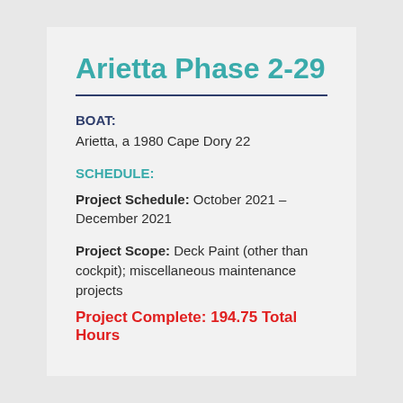Arietta Phase 2-29
BOAT:
Arietta, a 1980 Cape Dory 22
SCHEDULE:
Project Schedule:  October 2021 – December 2021
Project Scope:  Deck Paint (other than cockpit); miscellaneous maintenance projects
Project Complete:  194.75 Total Hours